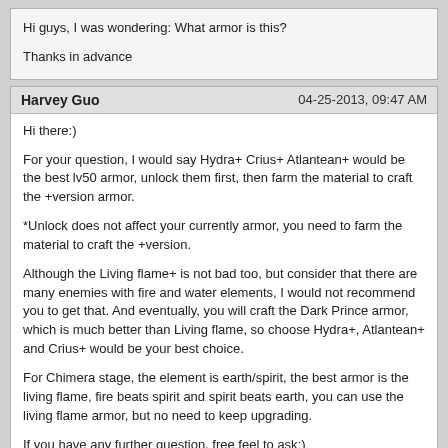Hi guys, I was wondering: What armor is this?

Thanks in advance
Harvey Guo | 04-25-2013, 09:47 AM
Hi there:)

For your question, I would say Hydra+ Crius+ Atlantean+ would be the best lv50 armor, unlock them first, then farm the material to craft the +version armor.

*Unlock does not affect your currently armor, you need to farm the material to craft the +version.

Although the Living flame+ is not bad too, but consider that there are many enemies with fire and water elements, I would not recommend you to get that. And eventually, you will craft the Dark Prince armor, which is much better than Living flame, so choose Hydra+, Atlantean+ and Crius+ would be your best choice.

For Chimera stage, the element is earth/spirit, the best armor is the living flame, fire beats spirit and spirit beats earth, you can use the living flame armor, but no need to keep upgrading.

If you have any further question, free feel to ask:)
Hi I just want to do a stat check and also ask for advice on how I should proceed.

Currently I'my lvl 42 and my best armours are...

lvl 21 crius+
lvl 22 Hydrahunter
lvl 22 living flame
lvl 25 chimera
lvl 18 wind monarch.
lvl 16 Steam wizard